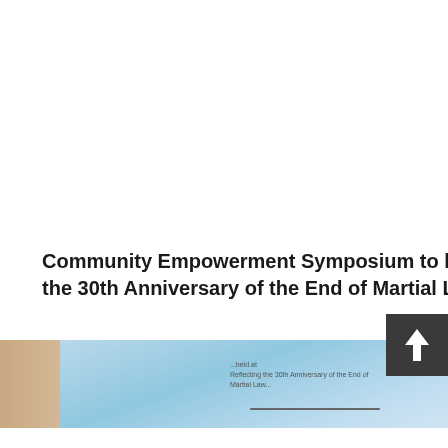Community Empowerment Symposium to be held at UCLA, reflect the 30th Anniversary of the End of Martial Law in Taiwan
[Figure (photo): Photo strip showing a presentation screen on the left with blue background and text visible, and wooden paneling or curtains on the right side]